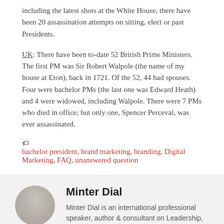including the latest shots at the White House, there have been 20 assassination attempts on sitting, elect or past Presidents.
UK: There have been to-date 52 British Prime Ministers. The first PM was Sir Robert Walpole (the name of my house at Eton), back in 1721. Of the 52, 44 had spouses. Four were bachelor PMs (the last one was Edward Heath) and 4 were widowed, including Walpole. There were 7 PMs who died in office; but only one, Spencer Perceval, was ever assassinated.
🏷 bachelor president, brand marketing, branding, Digital Marketing, FAQ, unanswered question
Minter Dial
Minter Dial is an international professional speaker, author & consultant on Leadership, Branding and Digital Strategy. After a successful international